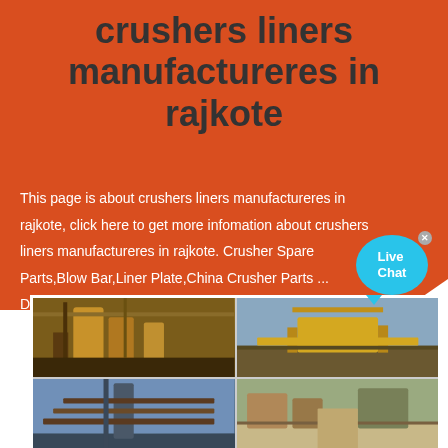crushers liners manufactureres in rajkote
This page is about crushers liners manufactureres in rajkote, click here to get more infomation about crushers liners manufactureres in rajkote. Crusher Spare Parts,Blow Bar,Liner Plate,China Crusher Parts ... Dingsheng is China crusher spare parts ...
[Figure (photo): Four industrial crusher/mining equipment photos arranged in a 2x2 grid: top-left shows large rusty crusher machinery, top-right shows yellow mobile crushing plant in field, bottom-left shows conveyor and crusher equipment against blue sky, bottom-right shows aerial view of quarry/mining site.]